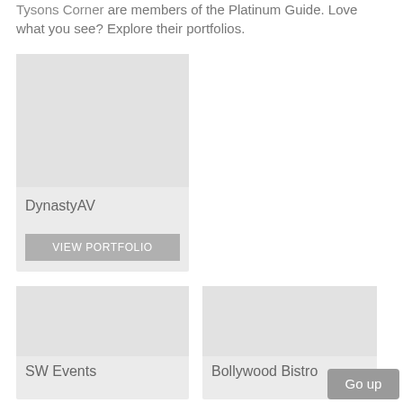Tysons Corner are members of the Platinum Guide. Love what you see? Explore their portfolios.
[Figure (photo): DynastyAV card with placeholder image]
DynastyAV
VIEW PORTFOLIO
[Figure (photo): SW Events card with placeholder image]
SW Events
[Figure (photo): Bollywood Bistro card with placeholder image]
Bollywood Bistro
Go up